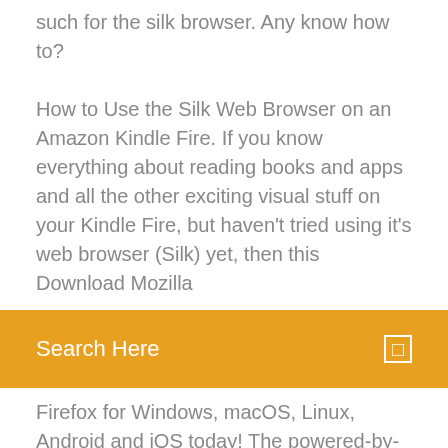such for the silk browser. Any know how to?
How to Use the Silk Web Browser on an Amazon Kindle Fire. If you know everything about reading books and apps and all the other exciting visual stuff on your Kindle Fire, but haven't tried using it's web browser (Silk) yet, then this Download Mozilla
Search Here
Firefox for Windows, macOS, Linux, Android and iOS today! The powered-by-the-cloud Silk browser Amazon surprised users with yesterday, which will initially only be available on its Fire 7-inch tablet, will probably be coming to other platforms, though silk free download - Silk, Silk Road, Panda Silk, and many more programs. silk free download - Silk, Silk Road, Panda Silk, and many more programs Windows. iOS. Android. Mac. Enter to Search The powered-by-the-cloud Silk browser Amazon surprised users with yesterday, which will initially only be